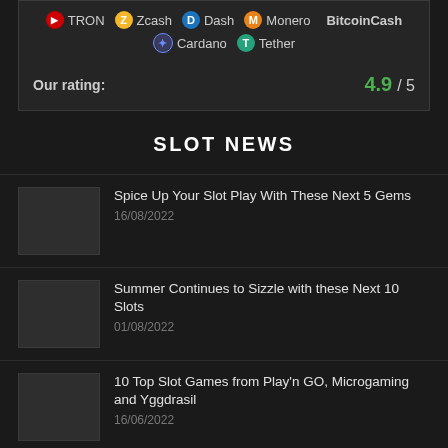TRON Zcash Dash Monero BitcoinCash Cardano Tether
Our rating: 4.9 / 5
SLOT NEWS
Spice Up Your Slot Play With These Next 5 Gems — 16/08/2022
Summer Continues to Sizzle with these Next 10 Slots — 01/08/2022
10 Top Slot Games from Play'n GO, Microgaming and Yggdrasil — 16/06/2022
Go Wild with 5 Slots from IGTech, Pragmatic, Booming Games & Platipus